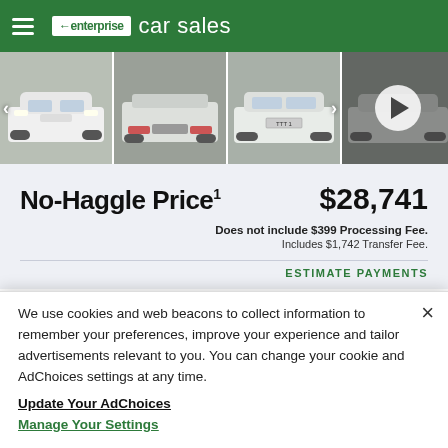enterprise car sales
[Figure (photo): Four car thumbnail images of a white Audi Q3 shown from front, rear, and side angles, with navigation arrows and a play button overlay on the last image]
No-Haggle Price¹  $28,741
Does not include $399 Processing Fee.
Includes $1,742 Transfer Fee.
ESTIMATE PAYMENTS
We use cookies and web beacons to collect information to remember your preferences, improve your experience and tailor advertisements relevant to you. You can change your cookie and AdChoices settings at any time.
Update Your AdChoices
Manage Your Settings